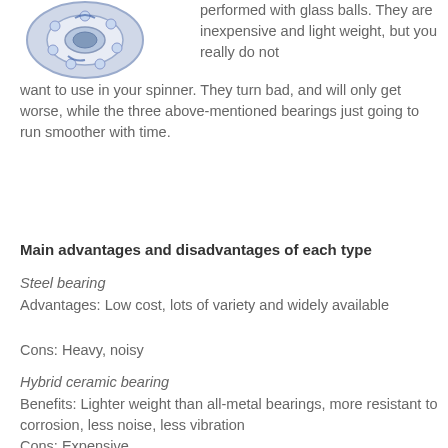[Figure (photo): Blue and white ceramic/hybrid bearing photographed from the front, circular shape with visible ball bearings inside.]
performed with glass balls. They are inexpensive and light weight, but you really do not want to use in your spinner. They turn bad, and will only get worse, while the three above-mentioned bearings just going to run smoother with time.
Main advantages and disadvantages of each type
Steel bearing
Advantages: Low cost, lots of variety and widely available
Cons: Heavy, noisy
Hybrid ceramic bearing
Benefits: Lighter weight than all-metal bearings, more resistant to corrosion, less noise, less vibration
Cons: Expensive